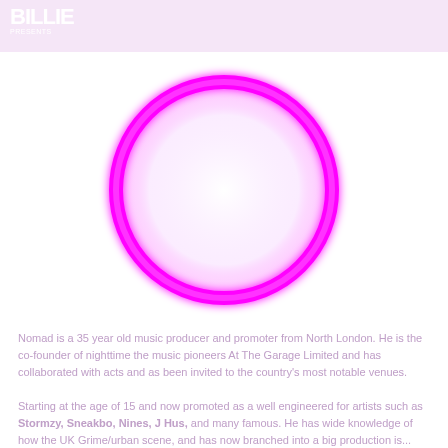BILLIE
[Figure (illustration): A large neon magenta/pink circle ring (thick stroke, glowing effect) centered on a white background, resembling the letter O.]
Nomad is a 35 year old music producer and promoter from North London. He is the co-founder of nighttime the music pioneers At The Garage Limited and has collaborated with acts and as been invited to the country's most notable venues.

Starting at the age of 15 and now promoted as a well engineered for artists such as Stormzy, Sneakbo, Nines, J Hus, and many famous. He has wide knowledge of how the UK Grime/urban scene, and has now branched into a big production is...